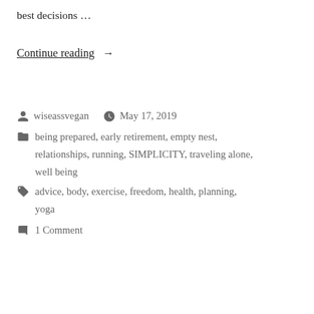best decisions …
Continue reading →
wiseassvegan   May 17, 2019
being prepared, early retirement, empty nest, relationships, running, SIMPLICITY, traveling alone, well being
advice, body, exercise, freedom, health, planning, yoga
1 Comment